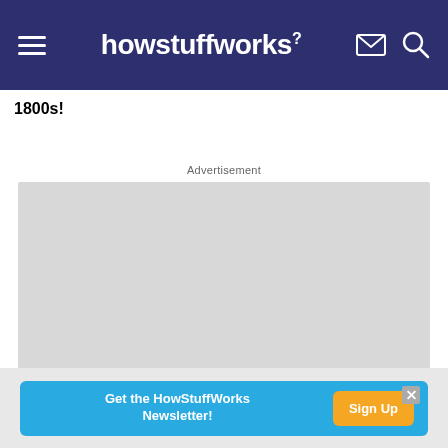howstuffworks
1800s!
Advertisement
[Figure (other): Gray advertisement placeholder rectangle]
Get the HowStuffWorks Newsletter!  Sign Up